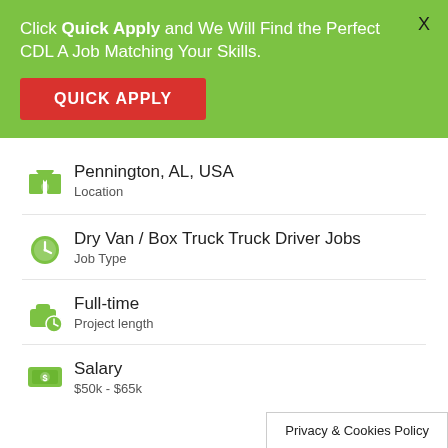Click Quick Apply and We Will Find the Perfect CDL A Job Matching Your Skills.
QUICK APPLY
Pennington, AL, USA
Location
Dry Van / Box Truck Truck Driver Jobs
Job Type
Full-time
Project length
Salary
$50k - $65k
Privacy & Cookies Policy